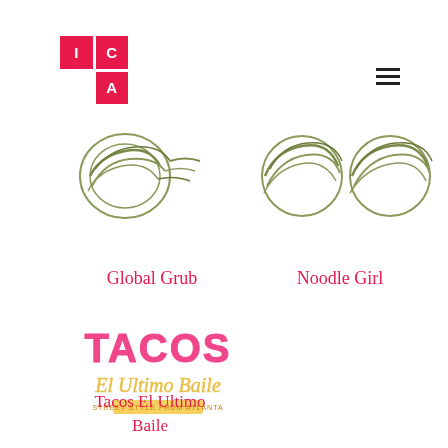[Figure (logo): ICA logo - red grid with letters I, C, A in white on red squares]
[Figure (other): Hamburger menu icon (three horizontal lines)]
[Figure (illustration): Global Grub logo/image - partially visible circular design]
Global Grub
[Figure (illustration): Noodle Girl logo/image - partially visible circular designs]
Noodle Girl
[Figure (logo): Tacos El Ultimo Baile logo - colorful text logo with TACOS in pink and El Ultimo Baile in yellow script]
Tacos El Ultimo Baile